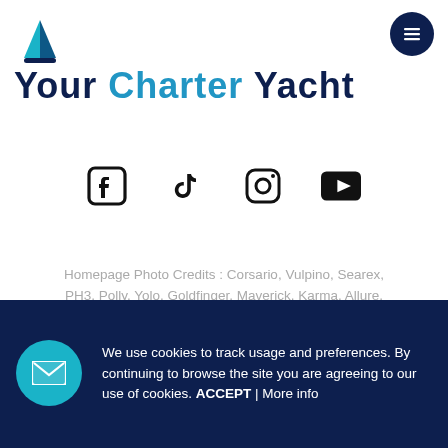[Figure (logo): Your Charter Yacht logo with a teal/blue sailboat triangle icon and dark navy text reading YOUR CHARTER YACHT]
[Figure (infographic): Social media icons: Facebook, TikTok, Instagram, YouTube]
Homepage Photo Credits : Corsario, Vulpino, Searex, PH3, Polly, Yolo, Goldfinger, Maverick, Karma, Allure, Romanca, Lamina
Terms & Conditions    Privacy Policy
We use cookies to track usage and preferences. By continuing to browse the site you are agreeing to our use of cookies. ACCEPT | More info